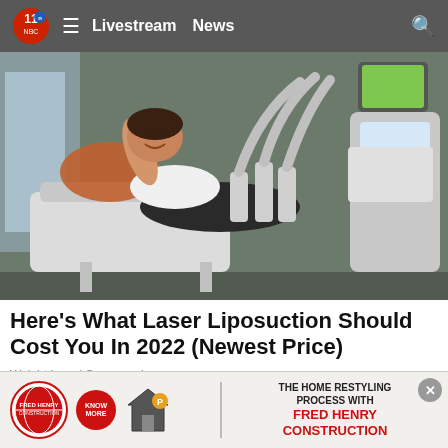Livestream  News
[Figure (photo): Woman lying on a treatment chair smiling while a body contouring/laser liposuction device with multiple applicators is applied to her abdomen. A tablet screen is visible in the background.]
Here's What Laser Liposuction Should Cost You In 2022 (Newest Price)
Weight Loss | Sponsored
[Figure (infographic): Fred Henry Construction advertisement banner. Shows the Fred Henry Construction logo, a Know More button, Neighbor's Home Pro logo, and text: THE HOME RESTYLING PROCESS WITH FRED HENRY CONSTRUCTION]